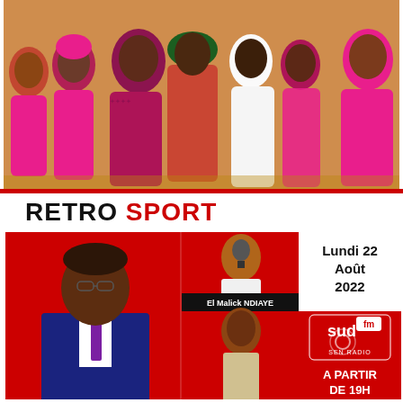[Figure (photo): Group photo of people wearing pink/magenta traditional African attire (boubou/grand dresses), one person in white, standing together indoors]
[Figure (infographic): RETRO SPORT radio program banner for Sud FM Senegal radio. Shows a man in a suit on the left, El Malick NDIAYE and another person on the right, date: Lundi 22 Août 2022, A PARTIR DE 19H, Sud FM SEN RADIO logo]
RETRO SPORT
El Malick NDIAYE
Lundi 22 Août 2022
A PARTIR DE 19H